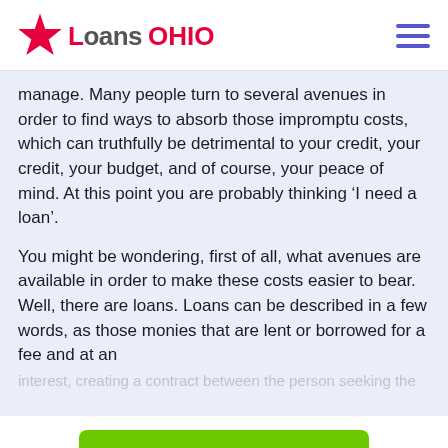Loans OHIO
manage. Many people turn to several avenues in order to find ways to absorb those impromptu costs, which can truthfully be detrimental to your credit, your credit, your budget, and of course, your peace of mind. At this point you are probably thinking ‘I need a loan’.
You might be wondering, first of all, what avenues are available in order to make these costs easier to bear. Well, there are loans. Loans can be described in a few words, as those monies that are lent or borrowed for a fee and at an interest, creating a contract between the person seeking the
[Figure (other): Green Apply Now button]
Applying does NOT affect your credit score!
No credit check to apply.